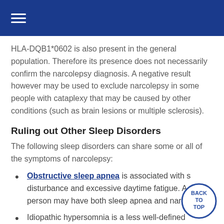☰ (navigation menu)
HLA-DQB1*0602 is also present in the general population. Therefore its presence does not necessarily confirm the narcolepsy diagnosis. A negative result however may be used to exclude narcolepsy in some people with cataplexy that may be caused by other conditions (such as brain lesions or multiple sclerosis).
Ruling out Other Sleep Disorders
The following sleep disorders can share some or all of the symptoms of narcolepsy:
Obstructive sleep apnea is associated with sleep disturbance and excessive daytime fatigue. A person may have both sleep apnea and narcolepsy.
Idiopathic hypersomnia is a less well-defined...